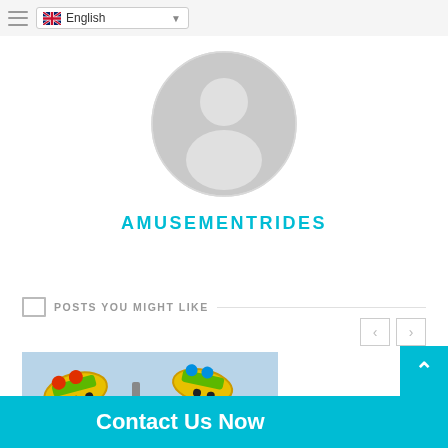English (language selector)
[Figure (illustration): Default user profile avatar — grey circle with silhouette of a person (head and shoulders)]
AMUSEMENTRIDES
POSTS YOU MIGHT LIKE
[Figure (photo): Amusement ride photo showing colorful yellow and green spinning/swing ride cars with blue sky background]
Contact Us Now